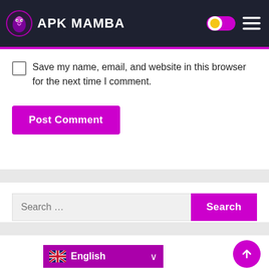[Figure (logo): APK Mamba website header with logo (snake/dragon icon) and site name 'APK MAMBA' in white on dark background, with a toggle switch and hamburger menu on the right]
Save my name, email, and website in this browser for the next time I comment.
[Figure (screenshot): Post Comment button - purple/magenta rectangle with white bold text]
[Figure (screenshot): Search bar with input field showing 'Search ...' placeholder and purple Search button]
[Figure (screenshot): Language selector showing English with UK flag, and a purple back-to-top arrow button]